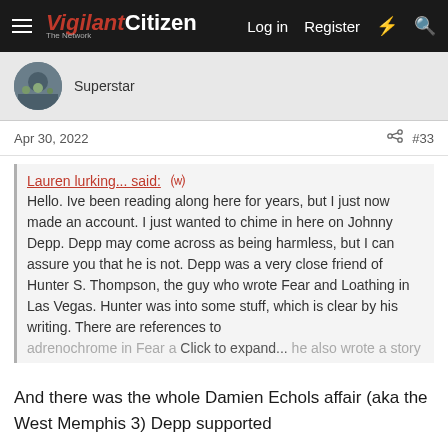Vigilant Citizen — Log in  Register
Superstar
Apr 30, 2022   #33
Lauren lurking... said: ↑
Hello. Ive been reading along here for years, but I just now made an account. I just wanted to chime in here on Johnny Depp. Depp may come across as being harmless, but I can assure you that he is not. Depp was a very close friend of Hunter S. Thompson, the guy who wrote Fear and Loathing in Las Vegas. Hunter was into some stuff, which is clear by his writing. There are references to adrenochrome in Fear and Loathing... he also wrote a story
Click to expand...
And there was the whole Damien Echols affair (aka the West Memphis 3) Depp supported